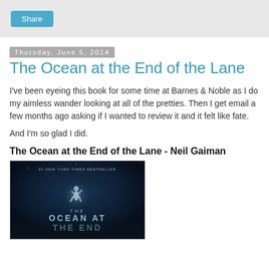Share
Thursday, June 5, 2014
The Ocean at the End of the Lane
I've been eyeing this book for some time at Barnes & Noble as I do my aimless wander looking at all of the pretties. Then I get email a few months ago asking if I wanted to review it and it felt like fate.
And I'm so glad I did.
The Ocean at the End of the Lane - Neil Gaiman
[Figure (photo): Book cover of 'The Ocean at the End of the Lane' by Neil Gaiman, #1 New York Times Bestseller. Dark blue atmospheric cover showing a figure in a misty nighttime scene with the title text visible.]